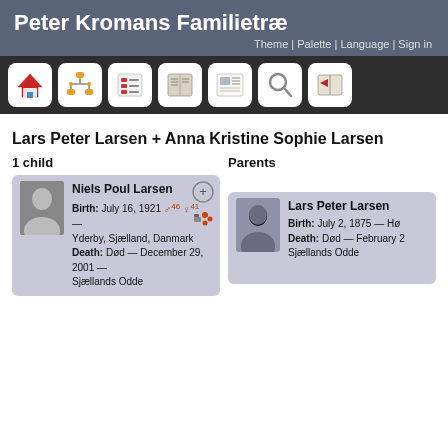Peter Kromans Familietræ
Theme | Palette | Language | Sign in
[Figure (screenshot): Navigation toolbar with 7 icon buttons: home, family tree, list, book, newspaper, search, and book/media]
Lars Peter Larsen + Anna Kristine Sophie Larsen
1 child
Niels Poul Larsen
Birth: July 16, 1921 ♂46 ♀41 — Yderby, Sjælland, Danmark
Death: Død — December 29, 2001 — Sjællands Odde
Parents
Lars Peter Larsen
Birth: July 2, 1875 — Hø...
Death: Død — February ... Sjællands Odde